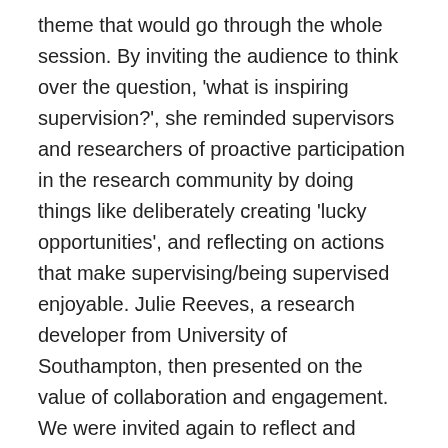theme that would go through the whole session. By inviting the audience to think over the question, 'what is inspiring supervision?', she reminded supervisors and researchers of proactive participation in the research community by doing things like deliberately creating 'lucky opportunities', and reflecting on actions that make supervising/being supervised enjoyable. Julie Reeves, a research developer from University of Southampton, then presented on the value of collaboration and engagement. We were invited again to reflect and discuss with other members the nominal value of inspiring collaboration and why it matters in research supervision. It was a fun-filled experience of listening to others and sharing my own views with them in the group discussion. Also I noticed how effectively the first two presenters led us to think by deliberately posing reflective questions and encouraging us to talk. By doing so, I felt the boundary between presenters and audience was blurred, as we all contributed to each theme by listing our ideas on posters, with many of them indeed being